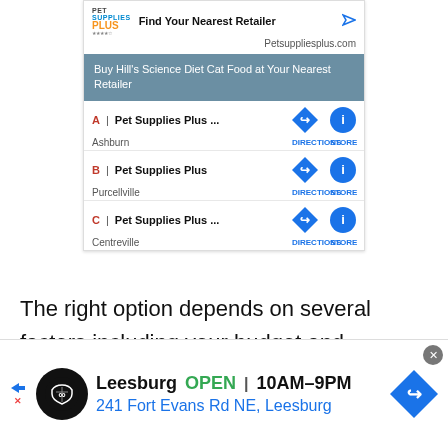[Figure (screenshot): Pet Supplies Plus ad showing 'Find Your Nearest Retailer' with Petsuppliesplus.com URL, a gray banner 'Buy Hill's Science Diet Cat Food at Your Nearest Retailer', and three retailer listings: A Pet Supplies Plus Ashburn, B Pet Supplies Plus Purcellville, C Pet Supplies Plus Centreville, each with DIRECTIONS and STORE buttons]
The right option depends on several factors including your budget and schedule. Online lectures offer flexibility as you can watch videos and listen to lectures whenever you're
[Figure (screenshot): Bottom banner ad for Pet Supplies Plus Leesburg: OPEN 10AM-9PM, 241 Fort Evans Rd NE, Leesburg, with navigation arrow button and close X button]